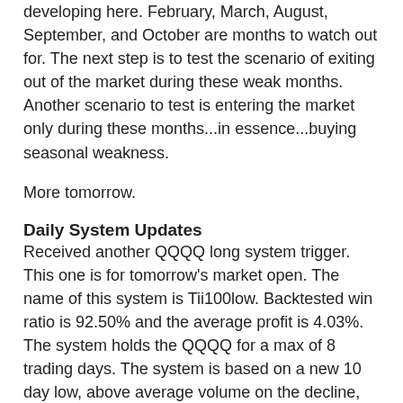developing here. February, March, August, September, and October are months to watch out for. The next step is to test the scenario of exiting out of the market during these weak months. Another scenario to test is entering the market only during these months...in essence...buying seasonal weakness.
More tomorrow.
Daily System Updates
Received another QQQQ long system trigger. This one is for tomorrow's market open. The name of this system is Tii100low. Backtested win ratio is 92.50% and the average profit is 4.03%. The system holds the QQQQ for a max of 8 trading days. The system is based on a new 10 day low, above average volume on the decline, and a strong mid-term uptrend in place. Finally, a trigger from one of my better systems.
Closed 1 QQQQ (Harami) long position with +0.20% profit.
Current open system positions: